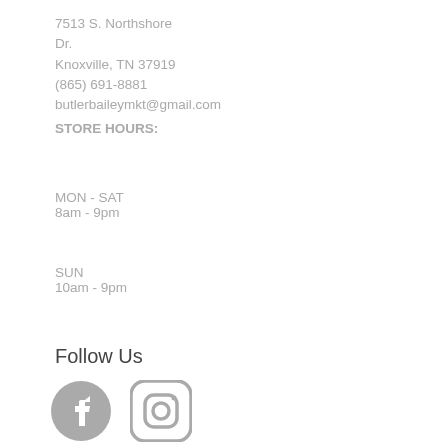7513 S. Northshore Dr.
Knoxville, TN 37919
(865) 691-8881
butlerbaileymkt@gmail.com
STORE HOURS:
MON - SAT
8am - 9pm
SUN
10am - 9pm
Follow Us
[Figure (illustration): Facebook and Instagram social media icons]